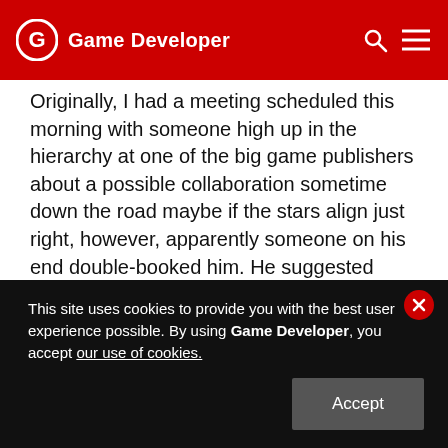Game Developer
Originally, I had a meeting scheduled this morning with someone high up in the hierarchy at one of the big game publishers about a possible collaboration sometime down the road maybe if the stars align just right, however, apparently someone on his end double-booked him. He suggested meeting tomorrow at 9, apparently forgetting that was the time of the GDC keynote. In the end, we settled on Friday morning.
On my way driving to GDC from my motel, I pass a
This site uses cookies to provide you with the best user experience possible. By using Game Developer, you accept our use of cookies.